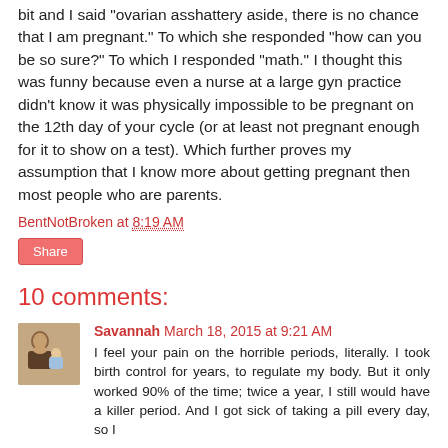bit and I said "ovarian asshattery aside, there is no chance that I am pregnant." To which she responded "how can you be so sure?" To which I responded "math." I thought this was funny because even a nurse at a large gyn practice didn't know it was physically impossible to be pregnant on the 12th day of your cycle (or at least not pregnant enough for it to show on a test). Which further proves my assumption that I know more about getting pregnant then most people who are parents.
BentNotBroken at 8:19 AM
Share
10 comments:
Savannah  March 18, 2015 at 9:21 AM
I feel your pain on the horrible periods, literally. I took birth control for years, to regulate my body. But it only worked 90% of the time; twice a year, I still would have a killer period. And I got sick of taking a pill every day, so I